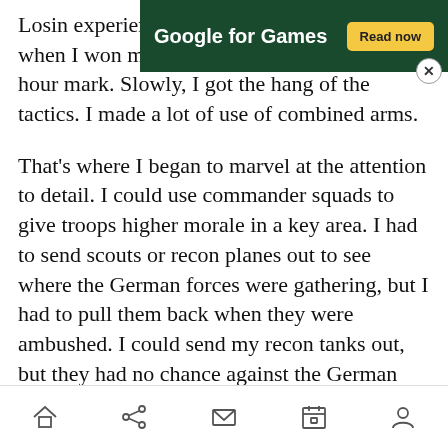Losing experience, and finally jumped for joy when I won my first battle around the five-hour mark. Slowly, I got the hang of the tactics. I made a lot of use of combined arms.
[Figure (other): Google for Games advertisement banner with dark green background, white bold text 'Google for Games', and a yellow 'Read now' button. A close (X) button appears at the bottom-right corner of the banner.]
That's where I began to marvel at the attention to detail. I could use commander squads to give troops higher morale in a key area. I had to send scouts or recon planes out to see where the German forces were gathering, but I had to pull them back when they were ambushed. I could send my recon tanks out, but they had no chance against the German Panzer and Tiger tanks. The German air forces and anti-aircraft also chewed
Home Share Mail Calendar Profile